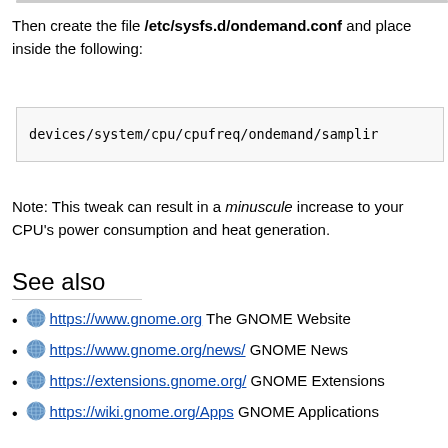Then create the file /etc/sysfs.d/ondemand.conf and place inside the following:
devices/system/cpu/cpufreq/ondemand/samplir
Note: This tweak can result in a minuscule increase to your CPU's power consumption and heat generation.
See also
https://www.gnome.org The GNOME Website
https://www.gnome.org/news/ GNOME News
https://extensions.gnome.org/ GNOME Extensions
https://wiki.gnome.org/Apps GNOME Applications